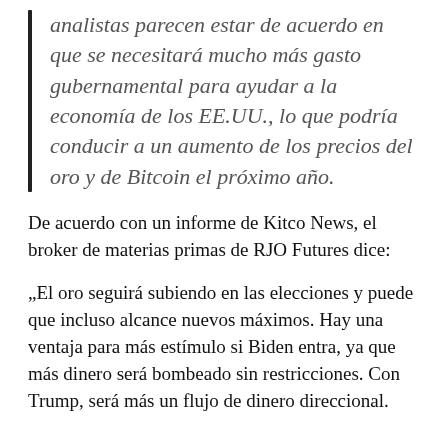analistas parecen estar de acuerdo en que se necesitará mucho más gasto gubernamental para ayudar a la economía de los EE.UU., lo que podría conducir a un aumento de los precios del oro y de Bitcoin el próximo año.
De acuerdo con un informe de Kitco News, el broker de materias primas de RJO Futures dice:
„El oro seguirá subiendo en las elecciones y puede que incluso alcance nuevos máximos. Hay una ventaja para más estímulo si Biden entra, ya que más dinero será bombeado sin restricciones. Con Trump, será más un flujo de dinero direccional.